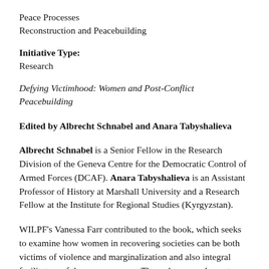Peace Processes
Reconstruction and Peacebuilding
Initiative Type:
Research
Defying Victimhood: Women and Post-Conflict Peacebuilding
Edited by Albrecht Schnabel and Anara Tabyshalieva
Albrecht Schnabel is a Senior Fellow in the Research Division of the Geneva Centre for the Democratic Control of Armed Forces (DCAF). Anara Tabyshalieva is an Assistant Professor of History at Marshall University and a Research Fellow at the Institute for Regional Studies (Kyrgyzstan).
WILPF's Vanessa Farr contributed to the book, which seeks to examine how women in recovering societies can be both victims of violence and marginalization and also integral facilitators of the peace process. Through case and country studies, particularly with an African focus, the authors